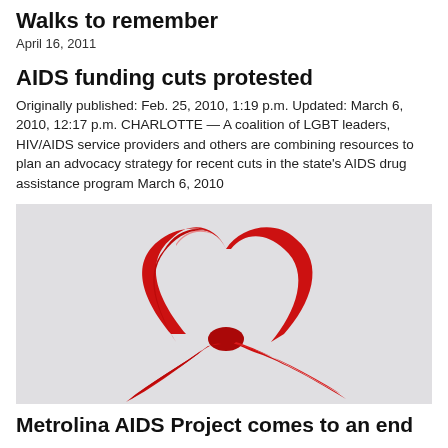Walks to remember
April 16, 2011
AIDS funding cuts protested
Originally published: Feb. 25, 2010, 1:19 p.m. Updated: March 6, 2010, 12:17 p.m. CHARLOTTE — A coalition of LGBT leaders, HIV/AIDS service providers and others are combining resources to plan an advocacy strategy for recent cuts in the state's AIDS drug assistance program March 6, 2010
[Figure (photo): A red AIDS awareness ribbon on a light gray/white background]
Metrolina AIDS Project comes to an end